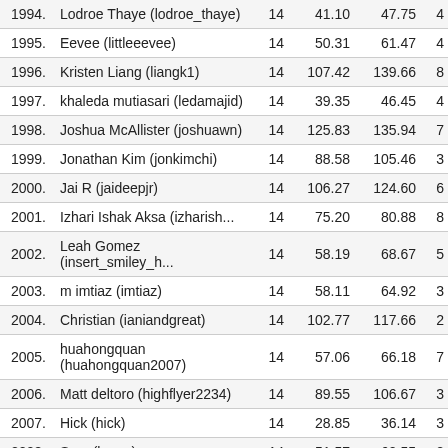| # | Name |  |  |  |  |
| --- | --- | --- | --- | --- | --- |
| 1994. | Lodroe Thaye (lodroe_thaye) | 14 | 41.10 | 47.75 | 4 |
| 1995. | Eevee (littleeevee) | 14 | 50.31 | 61.47 | 4 |
| 1996. | Kristen Liang (liangk1) | 14 | 107.42 | 139.66 | 8 |
| 1997. | khaleda mutiasari (ledamajid) | 14 | 39.35 | 46.45 | 4 |
| 1998. | Joshua McAllister (joshuawn) | 14 | 125.83 | 135.94 | 7 |
| 1999. | Jonathan Kim (jonkimchi) | 14 | 88.58 | 105.46 | 3 |
| 2000. | Jai R (jaideepjr) | 14 | 106.27 | 124.60 | 6 |
| 2001. | Izhari Ishak Aksa (izharish... | 14 | 75.20 | 80.88 | 8 |
| 2002. | Leah Gomez (insert_smiley_h... | 14 | 58.19 | 68.67 | 5 |
| 2003. | m imtiaz (imtiaz) | 14 | 58.11 | 64.92 | 3 |
| 2004. | Christian (ianiandgreat) | 14 | 102.77 | 117.66 | 2 |
| 2005. | huahongquan (huahongquan2007) | 14 | 57.06 | 66.18 | 7 |
| 2006. | Matt deltoro (highflyer2234) | 14 | 89.55 | 106.67 | 3 |
| 2007. | Hick (hick) | 14 | 28.85 | 36.14 | 3 |
| 2008. | Sam (hamy) | 14 | 51.57 | 60.55 | 2 |
| 2009. | GUS SA3D (gusasaad) | 14 | 62.79 | 67.95 | 8 |
| 2010. | Carlson T (golfknut) | 14 | 119.06 | 142.66 | 8 |